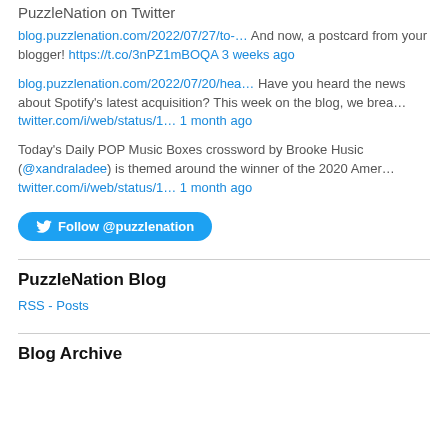PuzzleNation on Twitter
blog.puzzlenation.com/2022/07/27/to-… And now, a postcard from your blogger! https://t.co/3nPZ1mBOQA 3 weeks ago
blog.puzzlenation.com/2022/07/20/hea… Have you heard the news about Spotify's latest acquisition? This week on the blog, we brea… twitter.com/i/web/status/1… 1 month ago
Today's Daily POP Music Boxes crossword by Brooke Husic (@xandraladee) is themed around the winner of the 2020 Amer… twitter.com/i/web/status/1… 1 month ago
Follow @puzzlenation
PuzzleNation Blog
RSS - Posts
Blog Archive